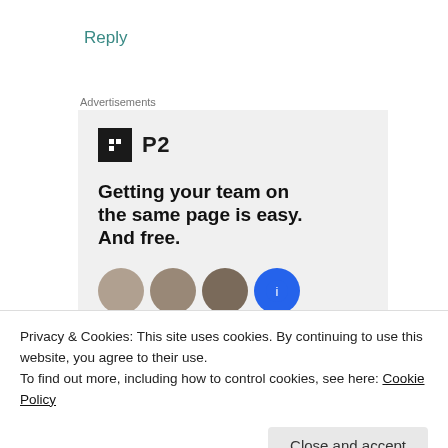Reply
Advertisements
[Figure (infographic): P2 advertisement banner with logo, headline 'Getting your team on the same page is easy. And free.' and user avatar circles]
Privacy & Cookies: This site uses cookies. By continuing to use this website, you agree to their use.
To find out more, including how to control cookies, see here: Cookie Policy
Wow I came across your story today & I can't help